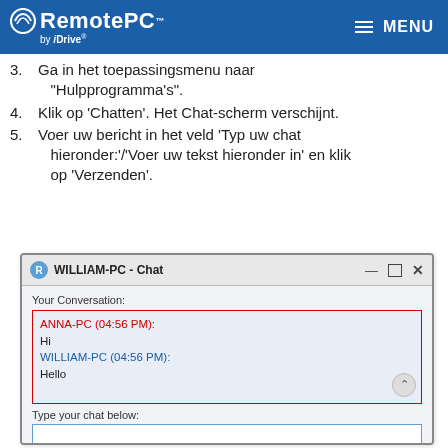RemotePC by IDrive — MENU
3. Ga in het toepassingsmenu naar "Hulpprogramma's".
4. Klik op 'Chatten'. Het Chat-scherm verschijnt.
5. Voer uw bericht in het veld 'Typ uw chat hieronder:'/'Voer uw tekst hieronder in' en klik op 'Verzenden'.
[Figure (screenshot): Screenshot of WILLIAM-PC - Chat window showing a conversation: ANNA-PC (04:56 PM): Hi, WILLIAM-PC (04:56 PM): Hello. Below is a 'Type your chat below:' input field.]